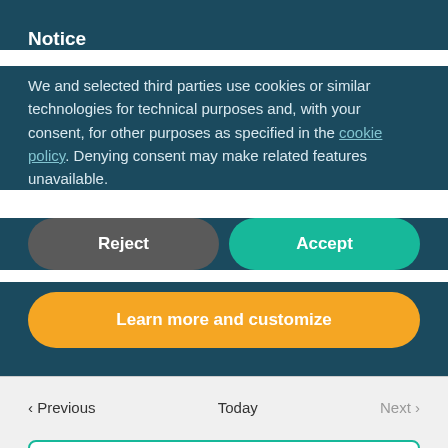Notice
We and selected third parties use cookies or similar technologies for technical purposes and, with your consent, for other purposes as specified in the cookie policy. Denying consent may make related features unavailable.
Reject
Accept
Learn more and customize
< Previous
Today
Next >
Subscribe to calendar ˅